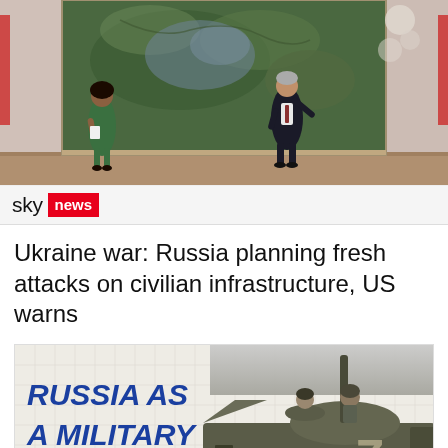[Figure (screenshot): Sky News TV studio screenshot showing two presenters standing in front of a large map screen]
[Figure (logo): Sky News logo with 'sky' in black and 'news' in white on red badge]
Ukraine war: Russia planning fresh attacks on civilian infrastructure, US warns
[Figure (photo): Thumbnail graphic with text RUSSIA AS A MILITARY POWER in bold blue italic text on light grid background, with military armored vehicle (APC) with Z marking on the right side]